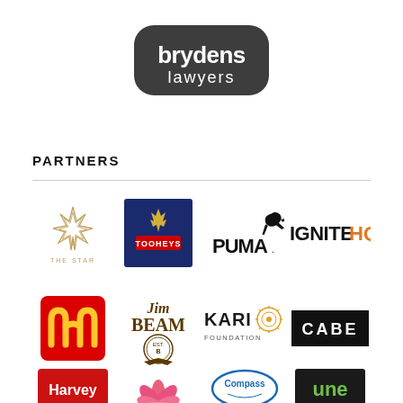[Figure (logo): Brydens Lawyers logo — dark rounded rectangle with white text 'brydens lawyers']
PARTNERS
[Figure (logo): The Star logo — gold geometric star flower with text 'THE STAR' below]
[Figure (logo): Tooheys logo — navy blue square with stag antlers and red banner]
[Figure (logo): PUMA logo — black PUMA text with leaping puma silhouette]
[Figure (logo): IgniteHQ logo — black IGNITE text with orange HQ]
[Figure (logo): McDonald's logo — red square with yellow M arches]
[Figure (logo): Jim Beam logo — gold/dark serif text Jim Beam with medallion]
[Figure (logo): KARI Foundation logo — dark text KARI FOUNDATION with circular sun emblem]
[Figure (logo): CABE logo — black rectangle with white CABE text]
[Figure (logo): Harvey logo — red background with white Harvey text]
[Figure (logo): Pink lotus flower logo]
[Figure (logo): Compass logo — blue oval compass emblem]
[Figure (logo): une logo — dark rectangle with green 'une' text]